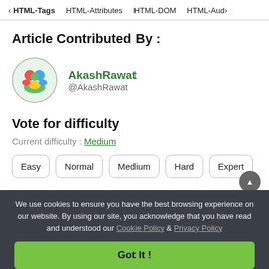< HTML-Tags   HTML-Attributes   HTML-DOM   HTML-Aud>
Article Contributed By :
[Figure (photo): Circular avatar photo of AkashRawat showing colorful illustrated figure]
AkashRawat
@AkashRawat
Vote for difficulty
Current difficulty : Medium
Easy   Normal   Medium   Hard   Expert
We use cookies to ensure you have the best browsing experience on our website. By using our site, you acknowledge that you have read and understood our Cookie Policy & Privacy Policy
Got It !